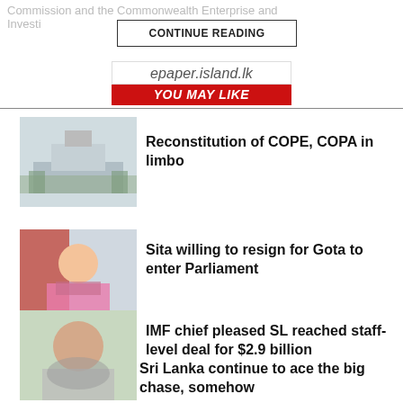Commission and the Commonwealth Enterprise and Investment...
CONTINUE READING
epaper.island.lk YOU MAY LIKE
[Figure (photo): Thumbnail photo of a government building]
Reconstitution of COPE, COPA in limbo
[Figure (photo): Thumbnail photo of a woman in a sari]
Sita willing to resign for Gota to enter Parliament
[Figure (photo): Thumbnail photo of an older woman]
IMF chief pleased SL reached staff-level deal for $2.9 billion
Sri Lanka continue to ace the big chase, somehow